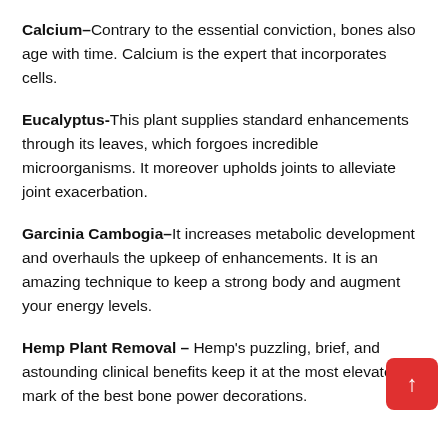Calcium–Contrary to the essential conviction, bones also age with time. Calcium is the expert that incorporates cells.
Eucalyptus-This plant supplies standard enhancements through its leaves, which forgoes incredible microorganisms. It moreover upholds joints to alleviate joint exacerbation.
Garcinia Cambogia–It increases metabolic development and overhauls the upkeep of enhancements. It is an amazing technique to keep a strong body and augment your energy levels.
Hemp Plant Removal – Hemp's puzzling, brief, and astounding clinical benefits keep it at the most elevated mark of the best bone power decorations.